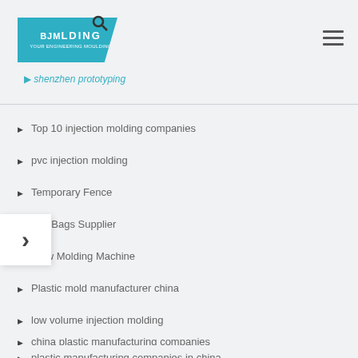BJMolding logo and navigation header
shenzhen prototyping
Top 10 injection molding companies
pvc injection molding
Temporary Fence
ood Bags Supplier
Blow Molding Machine
Plastic mold manufacturer china
low volume injection molding
china plastic manufacturing companies
plastic manufacturing companies in china